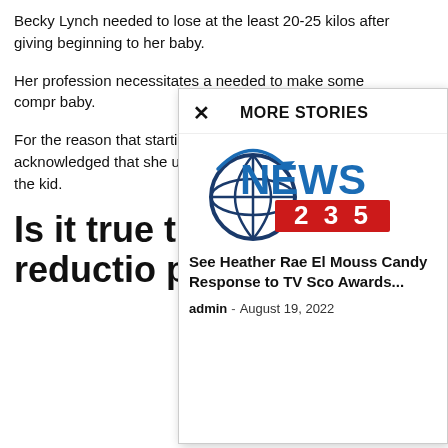Becky Lynch needed to lose at the least 20-25 kilos after giving beginning to her baby.
Her profession necessitates a needed to make some compr baby.
For the reason that starting o deliberate to stay to a inflexib acknowledged that she used with the intention to make su the kid.
Is it true that Ly weight reductio procedure?
[Figure (logo): NEWS 235 logo with globe icon in blue and red]
See Heather Rae El Mouss Candy Response to TV Sco Awards...
admin - August 19, 2022